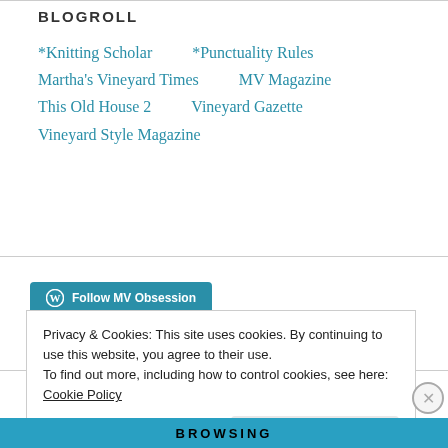BLOGROLL
*Knitting Scholar
*Punctuality Rules
Martha's Vineyard Times
MV Magazine
This Old House 2
Vineyard Gazette
Vineyard Style Magazine
[Figure (other): Follow MV Obsession button with WordPress icon]
Privacy & Cookies: This site uses cookies. By continuing to use this website, you agree to their use.
To find out more, including how to control cookies, see here:
Cookie Policy
Close and accept
[Figure (other): Partial blue banner at bottom of page]